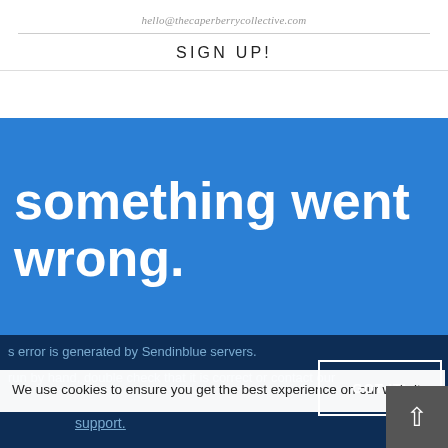hello@thecaperberrycollective.com
SIGN UP!
something went wrong.
s error is generated by Sendinblue servers.
run by hand, double check that it is correct or contact our
We use cookies to ensure you get the best experience on our website.
GOT IT!
support.